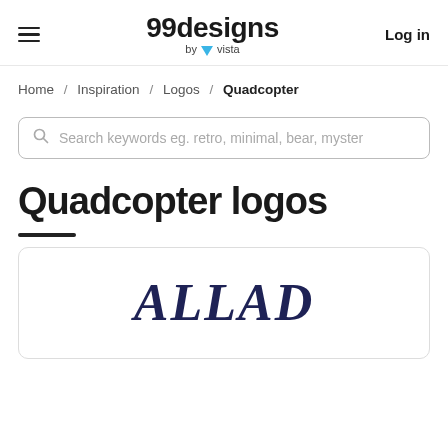99designs by vista  Log in
Home / Inspiration / Logos / Quadcopter
Search keywords eg. retro, minimal, bear, myster
Quadcopter logos
[Figure (logo): Partial logo preview card showing stylized text 'ALLAD' in dark navy blue serif bold italic letters]